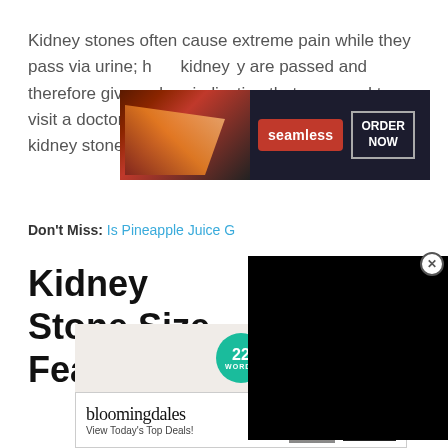Kidney stones often cause extreme pain while they pass via urine; however, kidney stones are passed and therefore give a clear indication that you need to visit a doctor. Some of the early signs of passing kidney stones are mentioned below:
[Figure (screenshot): Seamless food delivery advertisement banner with pizza image, seamless logo, and ORDER NOW button]
Don't Miss: Is Pineapple Juice G...
Kidney Stone Size Features
[Figure (screenshot): Black video player overlay with close (X) button]
[Figure (screenshot): 22 WORDS advertisement banner with teal circular badge and CLOSE button]
[Figure (screenshot): Bloomingdale's advertisement: View Today's Top Deals! with SHOP NOW button]